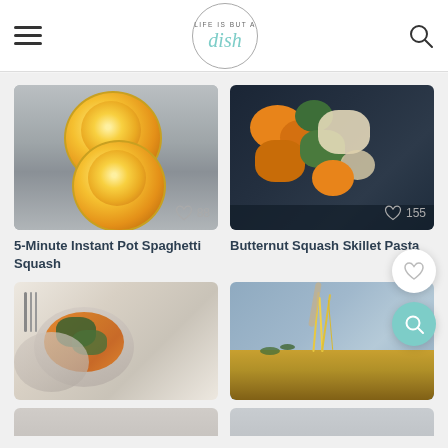[Figure (screenshot): Website header with hamburger menu on left, 'Life is But a Dish' logo in center circle, and search icon on right]
[Figure (photo): Two halves of roasted spaghetti squash on a silver baking tray, viewed from above]
88
5-Minute Instant Pot Spaghetti Squash
[Figure (photo): Butternut squash skillet pasta with colorful vegetables being scooped from a dark pan]
155
Butternut Squash Skillet Pasta
236
[Figure (photo): Bowl of butternut squash and kale dish on marble surface with fork]
[Figure (photo): Spaghetti being pulled from a baked dish showing stretchy cheese strands]